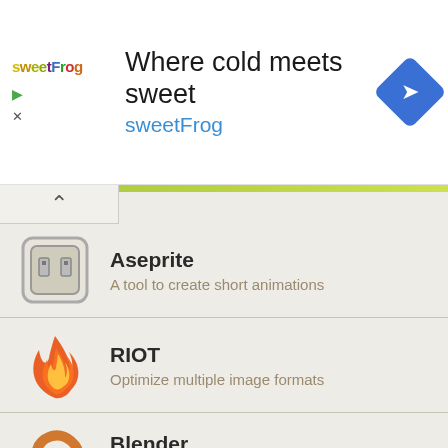[Figure (infographic): Advertisement banner for sweetFrog: 'Where cold meets sweet' with sweetFrog logo, blue diamond navigation arrow icon, and ad controls (play/close icons)]
Aseprite – A tool to create short animations
RIOT – Optimize multiple image formats
Blender – Tool to create 3D models with enhanced features
PureRef (partially visible)